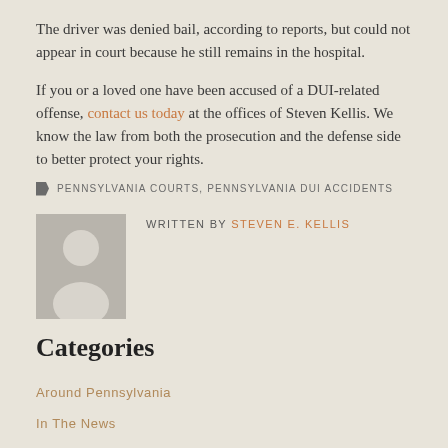The driver was denied bail, according to reports, but could not appear in court because he still remains in the hospital.
If you or a loved one have been accused of a DUI-related offense, contact us today at the offices of Steven Kellis. We know the law from both the prosecution and the defense side to better protect your rights.
PENNSYLVANIA COURTS, PENNSYLVANIA DUI ACCIDENTS
WRITTEN BY STEVEN E. KELLIS
[Figure (illustration): Gray placeholder avatar image showing a silhouette of a person]
Categories
Around Pennsylvania
In The News